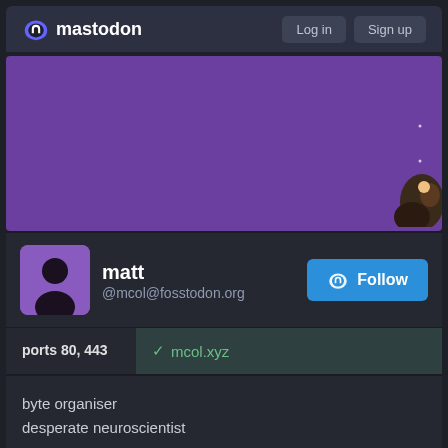mastodon  Log in  Sign up
[Figure (illustration): Purple banner background with small white dots and a partial mascot illustration in the bottom right corner]
matt
@mcol@fosstodon.org
|  |  |
| --- | --- |
| ports 80, 443 | ✓ mcol.xyz |
byte organiser
desperate neuroscientist